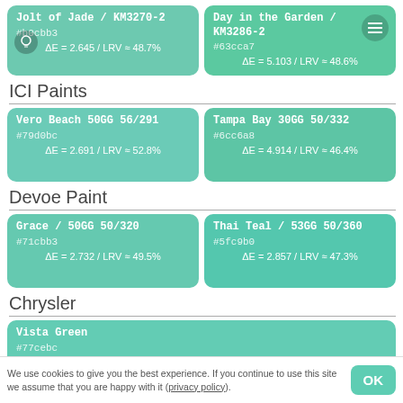[Figure (infographic): Two color swatches: Jolt of Jade KM3270-2 #b0cbb3 ΔE=2.645/LRV≈48.7% and Day in the Garden KM3286-2 #63cca7 ΔE=5.103/LRV≈48.6%]
ICI Paints
[Figure (infographic): Two color swatches: Vero Beach 50GG 56/291 #79d0bc ΔE=2.691/LRV≈52.8% and Tampa Bay 30GG 50/332 #6cc6a8 ΔE=4.914/LRV≈46.4%]
Devoe Paint
[Figure (infographic): Two color swatches: Grace / 50GG 50/320 #71cbb3 ΔE=2.732/LRV≈49.5% and Thai Teal / 53GG 50/360 #5fc9b0 ΔE=2.857/LRV≈47.3%]
Chrysler
[Figure (infographic): Color swatch: Vista Green #77cebc ΔE=2.779/LRV≈51.7%]
We use cookies to give you the best experience. If you continue to use this site we assume that you are happy with it (privacy policy).